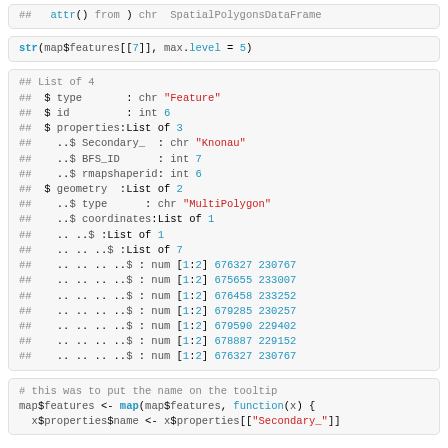## attr() from chr SpatialPolygonsDataFrame (truncated top)
str(map$features[[7]], max.level = 5)
## List of 4
##  $ type       : chr "Feature"
##  $ id         : int 6
##  $ properties:List of 3
##    ..$ Secondary_  : chr "Knonau"
##    ..$ BFS_ID      : int 7
##    ..$ rmapshaperid: int 6
##  $ geometry  :List of 2
##    ..$ type      : chr "MultiPolygon"
##    ..$ coordinates:List of 1
##    .. ..$ :List of 1
##    .. .. ..$ :List of 7
##    .. .. .. ..$ : num [1:2] 676327 230767
##    .. .. .. ..$ : num [1:2] 675655 233007
##    .. .. .. ..$ : num [1:2] 676458 233252
##    .. .. .. ..$ : num [1:2] 679285 230257
##    .. .. .. ..$ : num [1:2] 679590 229402
##    .. .. .. ..$ : num [1:2] 678887 229152
##    .. .. .. ..$ : num [1:2] 676327 230767
# this was to put the name on the tooltip
map$features <- map(map$features, function(x) {
  x$properties$name <- x$properties[["Secondary_"]]